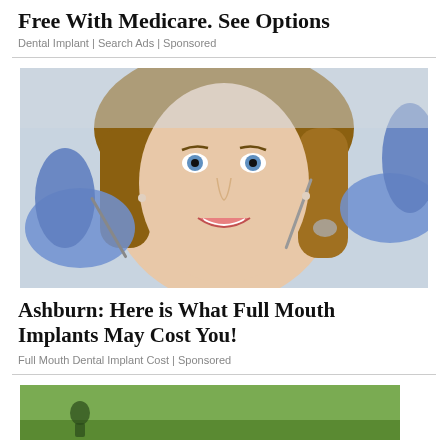Free With Medicare. See Options
Dental Implant | Search Ads | Sponsored
[Figure (photo): Young woman smiling at dentist while dental professional in blue gloves holds dental instruments near her mouth]
Ashburn: Here is What Full Mouth Implants May Cost You!
Full Mouth Dental Implant Cost | Sponsored
[Figure (photo): Outdoor sports/golf scene, partial view at bottom of page]